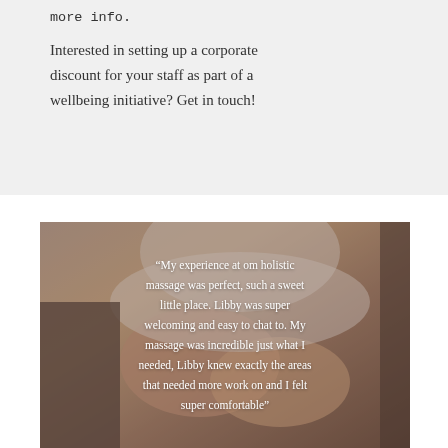more info.
Interested in setting up a corporate discount for your staff as part of a wellbeing initiative? Get in touch!
[Figure (photo): Close-up photo of a massage therapy session showing hands on a person's back/shoulder with white draping, warm toned background. Overlaid with a white italic testimonial quote.]
“My experience at om holistic massage was perfect, such a sweet little place. Libby was super welcoming and easy to chat to. My massage was incredible just what I needed, Libby knew exactly the areas that needed more work on and I felt super comfortable”